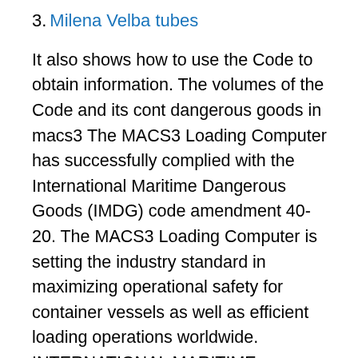3. Milena Velba tubes
It also shows how to use the Code to obtain information. The volumes of the Code and its cont dangerous goods in macs3 The MACS3 Loading Computer has successfully complied with the International Maritime Dangerous Goods (IMDG) code amendment 40-20. The MACS3 Loading Computer is setting the industry standard in maximizing operational safety for container vessels as well as efficient loading operations worldwide. INTERNATIONAL MARITIME DANGEROUS GOODS CODE: It gives a uniform international code of dangerous goods for transportation by sea; It gives methods of packing in packets or in container, stowage and segregation of incompatible substances. Legal status of IMDG code. The IMDG